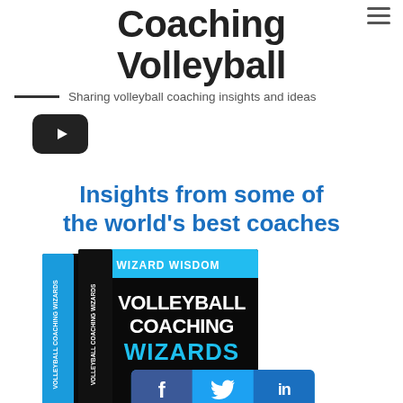Coaching Volleyball
Sharing volleyball coaching insights and ideas
[Figure (logo): YouTube play button icon in black rounded rectangle]
Insights from some of the world's best coaches
[Figure (photo): Book covers for 'Volleyball Coaching Wizards - Wizard Wisdom' showing two overlapping book covers with black and cyan design, with social sharing bar (Facebook, Twitter, LinkedIn) overlaid at bottom]